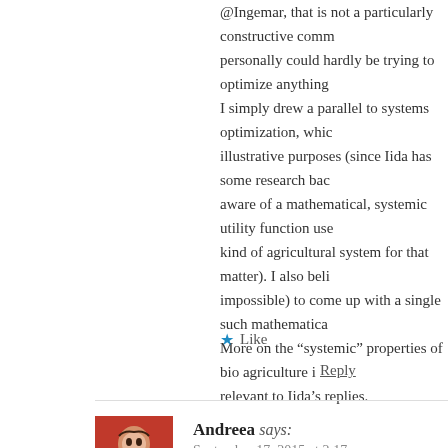@Ingemar, that is not a particularly constructive comment. I personally could hardly be trying to optimize anything. I simply drew a parallel to systems optimization, which I used for illustrative purposes (since Iida has some research background, and I am aware of a mathematical, systemic utility function used for this kind of agricultural system for that matter). I also believe it is (near impossible) to come up with a single such mathematical function. More on the “systemic” properties of bio agriculture in replies relevant to Iida’s replies.
Like
Reply
Andreea says: September 17, 2015 at 2:17 pm
@Iida and @Ingemar If there is any leap in my statement about bio agriculture, it does not come from myself.